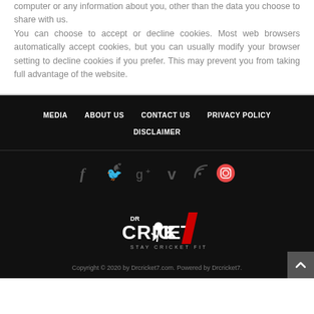computer or any information about you, other than the data you choose to share with us.
You can choose to accept or decline cookies. Most web browsers automatically accept cookies, but you can usually modify your browser setting to decline cookies if you prefer. This may prevent you from taking full advantage of the website.
MEDIA   ABOUT US   CONTACT US   PRIVACY POLICY   DISCLAIMER
[Figure (other): Social media icons: Facebook, Twitter, Google+, Vimeo, RSS, Instagram]
[Figure (logo): Dr Cricket7 - Stay Cricket Fit logo in white and red on black background]
Copyright © 2020 by Drcricket7.com. Powered by Drcricket7.